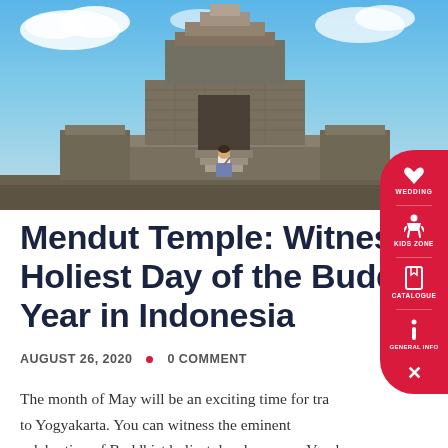[Figure (photo): Photograph of Mendut Temple with stone architecture and a person walking up the steps, blue sky with clouds in background]
Mendut Temple: Witness the Holiest Day of the Buddhist Year in Indonesia
AUGUST 26, 2020  •  0 COMMENT
The month of May will be an exciting time for traveling to Yogyakarta. You can witness the eminent celebration of Buddhist holiest day, known as Vesak 2561/2562 that falls on May 11th, 2017. The date is set accordingly to the time of the brightest full moon that